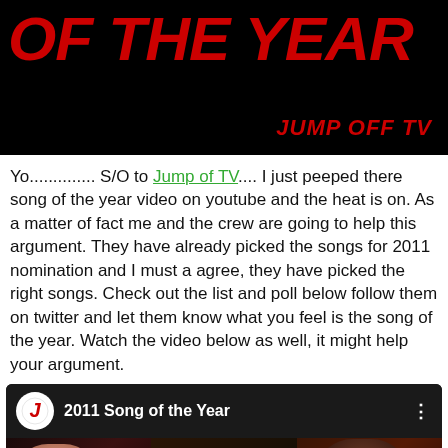[Figure (photo): Black banner with large bold red italic text reading 'OF THE YEAR' and 'JUMP OFF TV' logo in red italic text at bottom right]
Yo.............. S/O to Jump of TV.... I just peeped there song of the year video on youtube and the heat is on. As a matter of fact me and the crew are going to help this argument. They have already picked the songs for 2011 nomination and I must a agree, they have picked the right songs. Check out the list and poll below follow them on twitter and let them know what you feel is the song of the year. Watch the video below as well, it might help your argument.
[Figure (screenshot): YouTube video embed showing '2011 Song of the Year' with Jump Off TV logo, featuring thumbnail of three people - a woman on left, man in center, and man with hat on right]